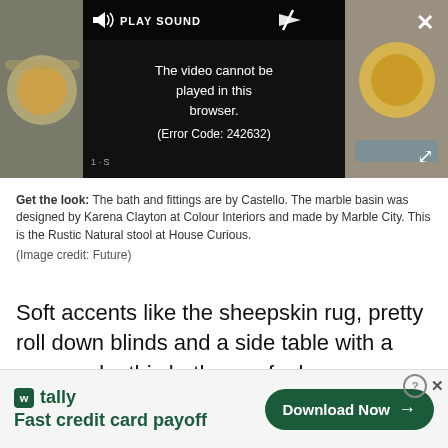[Figure (screenshot): Video player showing error message 'The video cannot be played in this browser. (Error Code: 242632)' with PLAY SOUND button, close X, and expand icon. Side panels show blurred images of paint cans/bathroom items.]
Get the look: The bath and fittings are by Castello. The marble basin was designed by Karena Clayton at Colour Interiors and made by Marble City. This is the Rustic Natural stool at House Curious.
(Image credit: Future)
Soft accents like the sheepskin rug, pretty roll down blinds and a side table with a vase make this bathroom feel more spa-like.
[Figure (screenshot): Advertisement banner for Tally app: 'Fast credit card payoff' with a 'Download Now' button and close/help icons.]